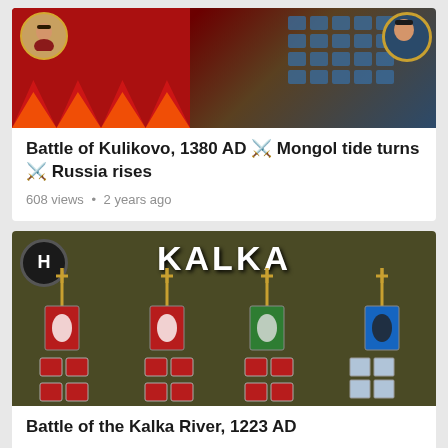[Figure (screenshot): Thumbnail image of Battle of Kulikovo 1380 AD video game screenshot showing medieval battle scene with red banners and portraits]
Battle of Kulikovo, 1380 AD ⚔️ Mongol tide turns ⚔️ Russia rises
608 views • 2 years ago
[Figure (screenshot): Thumbnail image showing KALKA battle screen from video game with medieval banner units on dark olive background, shield logo top left]
Battle of the Kalka River, 1223 AD
323 views • 2 years ago